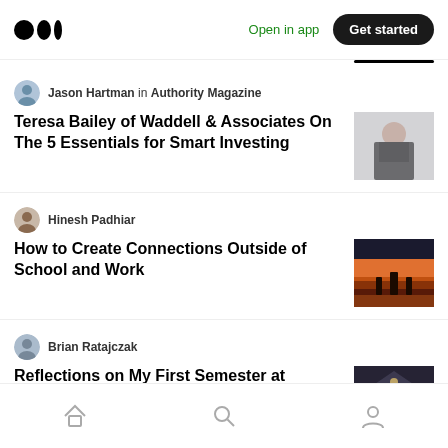Medium app header with logo, Open in app, Get started
Jason Hartman in Authority Magazine — Teresa Bailey of Waddell & Associates On The 5 Essentials for Smart Investing
Hinesh Padhiar — How to Create Connections Outside of School and Work
Brian Ratajczak — Reflections on My First Semester at Harvard Business School (Fall 2020)
Bottom navigation: Home, Search, Profile